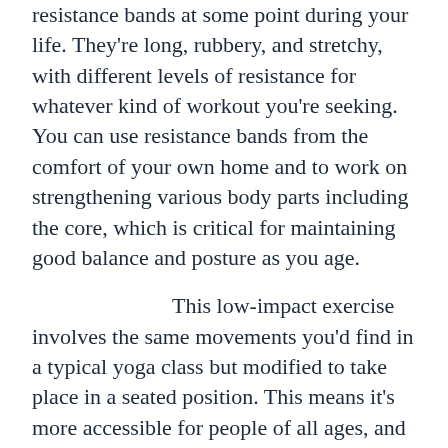resistance bands at some point during your life. They're long, rubbery, and stretchy, with different levels of resistance for whatever kind of workout you're seeking. You can use resistance bands from the comfort of your own home and to work on strengthening various body parts including the core, which is critical for maintaining good balance and posture as you age.
This low-impact exercise involves the same movements you'd find in a typical yoga class but modified to take place in a seated position. This means it's more accessible for people of all ages, and is less stress on arthritic bones, muscles, and joints. Ask your local yoga studio if they offer classes or discover beginner videos on YouTube.
Growing in popularity now more than ever, water aerobics offers people the ability to get a full body workout without the added stress on their